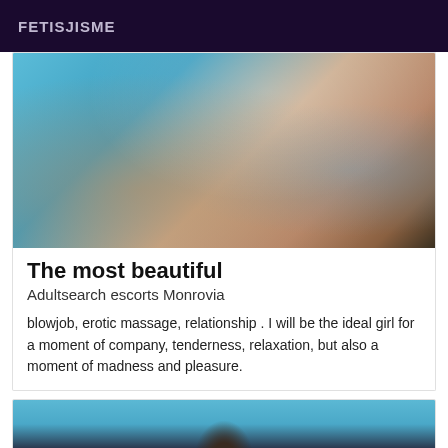FETISJISME
[Figure (photo): Close-up photo of a person in a bikini floating in a swimming pool with blue water]
The most beautiful
Adultsearch escorts Monrovia
blowjob, erotic massage, relationship . I will be the ideal girl for a moment of company, tenderness, relaxation, but also a moment of madness and pleasure.
[Figure (photo): Partial photo of a person with dark hair against a blue curtain background]